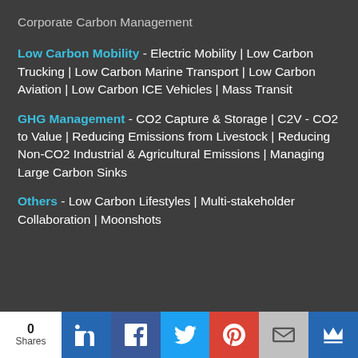Corporate Carbon Management
Low Carbon Mobility - Electric Mobility | Low Carbon Trucking | Low Carbon Marine Transport | Low Carbon Aviation | Low Carbon ICE Vehicles | Mass Transit
GHG Management - CO2 Capture & Storage | C2V - CO2 to Value | Reducing Emissions from Livestock | Reducing Non-CO2 Industrial & Agricultural Emissions | Managing Large Carbon Sinks
Others - Low Carbon Lifestyles | Multi-stakeholder Collaboration | Moonshots
0 Shares | LinkedIn | Facebook | Twitter | Google+ | Email | Crown